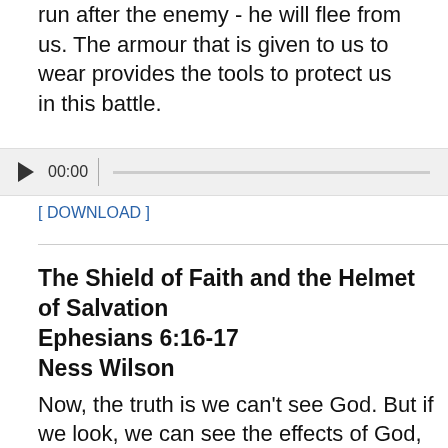run after the enemy - he will flee from us. The armour that is given to us to wear provides the tools to protect us in this battle.
[Figure (other): Audio player widget showing play button, timestamp 00:00, and a progress bar.]
[ DOWNLOAD ]
The Shield of Faith and the Helmet of Salvation
Ephesians 6:16-17
Ness Wilson
Now, the truth is we can't see God. But if we look, we can see the effects of God, the evidence that He is real - whether that be the beauty of creation and